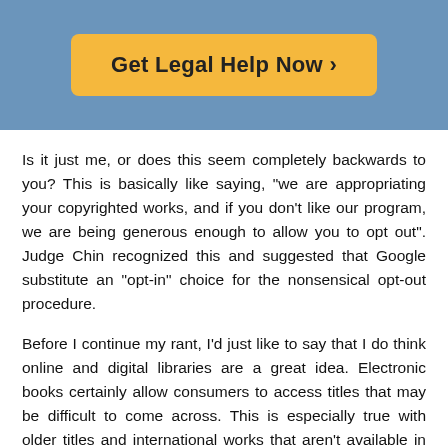[Figure (other): Call-to-action button with orange/yellow background reading 'Get Legal Help Now >' on a blue/steel banner]
Is it just me, or does this seem completely backwards to you? This is basically like saying, "we are appropriating your copyrighted works, and if you don't like our program, we are being generous enough to allow you to opt out". Judge Chin recognized this and suggested that Google substitute an "opt-in" choice for the nonsensical opt-out procedure.
Before I continue my rant, I'd just like to say that I do think online and digital libraries are a great idea. Electronic books certainly allow consumers to access titles that may be difficult to come across. This is especially true with older titles and international works that aren't available in the U.S. And Google's bookstore would potentially allow access to some of the most well-respected university libraries, such as the ones at Oxford and Harvard, an idea which I like very much.